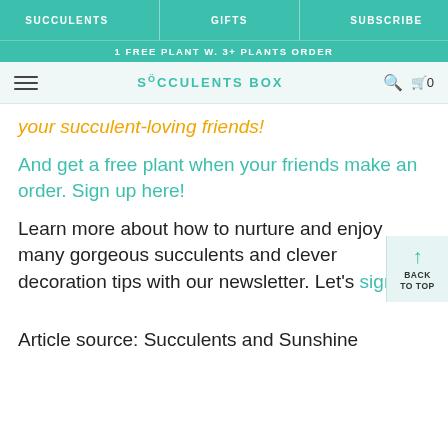SUCCULENTS | GIFTS | SUBSCRIBE
1 FREE PLANT W. 3+ PLANTS ORDER
SUCCULENTS BOX
your succulent-loving friends!
And get a free plant when your friends make an order. Sign up here!
Learn more about how to nurture and enjoy many gorgeous succulents and clever decoration tips with our newsletter. Let's sign up!
Article source: Succulents and Sunshine